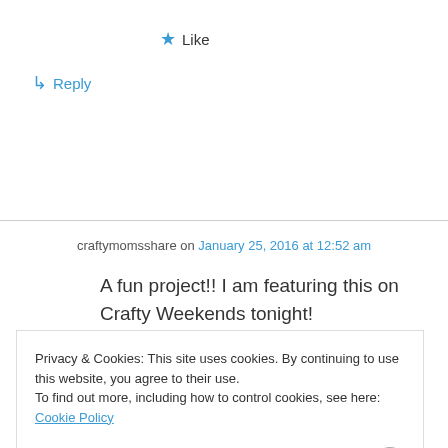★ Like
↳ Reply
craftymomsshare on January 25, 2016 at 12:52 am
A fun project!! I am featuring this on Crafty Weekends tonight!
Privacy & Cookies: This site uses cookies. By continuing to use this website, you agree to their use.
To find out more, including how to control cookies, see here: Cookie Policy
Close and accept